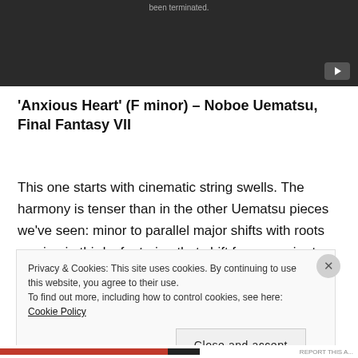[Figure (screenshot): Dark video player area with a YouTube play button in the bottom right corner and partially visible text at the top reading 'been terminated.']
'Anxious Heart' (F minor) – Noboe Uematsu, Final Fantasy VII
This one starts with cinematic string swells. The harmony is tenser than in the other Uematsu pieces we've seen: minor to parallel major shifts with roots moving in thirds, featuring that shift from a major to minor 3rd which signals a mood of awe and
Privacy & Cookies: This site uses cookies. By continuing to use this website, you agree to their use.
To find out more, including how to control cookies, see here: Cookie Policy

Close and accept